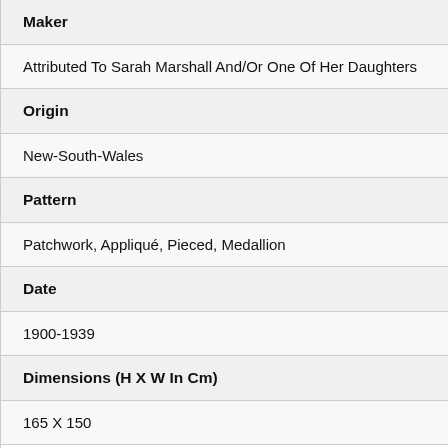Maker
Attributed To Sarah Marshall And/Or One Of Her Daughters
Origin
New-South-Wales
Pattern
Patchwork, Appliqué, Pieced, Medallion
Date
1900-1939
Dimensions (H X W In Cm)
165 X 150